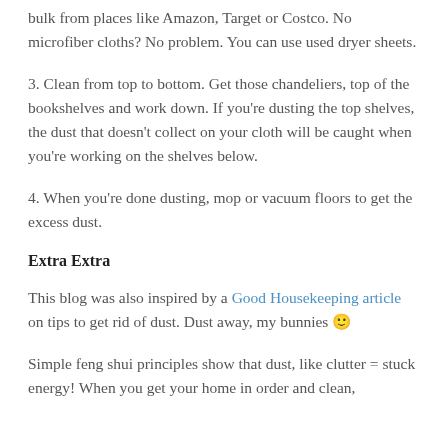bulk from places like Amazon, Target or Costco. No microfiber cloths? No problem. You can use used dryer sheets.
3. Clean from top to bottom. Get those chandeliers, top of the bookshelves and work down. If you're dusting the top shelves, the dust that doesn't collect on your cloth will be caught when you're working on the shelves below.
4. When you're done dusting, mop or vacuum floors to get the excess dust.
Extra Extra
This blog was also inspired by a Good Housekeeping article on tips to get rid of dust. Dust away, my bunnies 🙂
Simple feng shui principles show that dust, like clutter = stuck energy! When you get your home in order and clean,